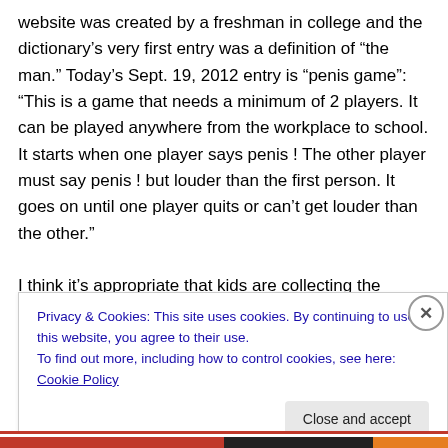website was created by a freshman in college and the dictionary's very first entry was a definition of “the man.” Today’s Sept. 19, 2012 entry is “penis game”: “This is a game that needs a minimum of 2 players. It can be played anywhere from the workplace to school. It starts when one player says penis ! The other player must say penis ! but louder than the first person. It goes on until one player quits or can’t get louder than the other.”
I think it’s appropriate that kids are collecting the language that expresses our cultural moment, although were
Privacy & Cookies: This site uses cookies. By continuing to use this website, you agree to their use.
To find out more, including how to control cookies, see here: Cookie Policy